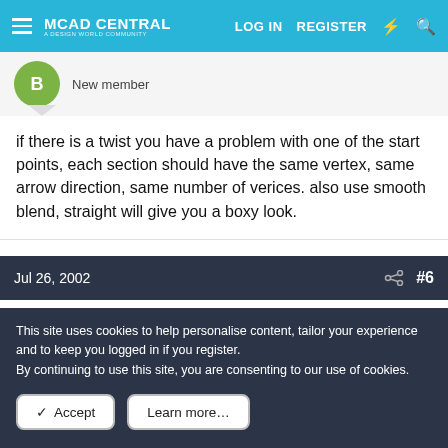MCAD CENTRAL | LOG IN | REGISTER
New member
if there is a twist you have a problem with one of the start points, each section should have the same vertex, same arrow direction, same number of verices. also use smooth blend, straight will give you a boxy look.
Jul 26, 2002   #6
dougr
New member
This site uses cookies to help personalise content, tailor your experience and to keep you logged in if you register.
By continuing to use this site, you are consenting to our use of cookies.